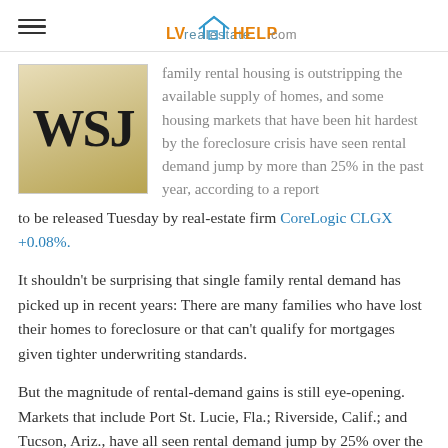LVrealestateHELP.com
[Figure (logo): WSJ (Wall Street Journal) logo in bold serif font on a golden/tan gradient background]
family rental housing is outstripping the available supply of homes, and some housing markets that have been hit hardest by the foreclosure crisis have seen rental demand jump by more than 25% in the past year, according to a report to be released Tuesday by real-estate firm CoreLogic CLGX +0.08%.
It shouldn't be surprising that single family rental demand has picked up in recent years: There are many families who have lost their homes to foreclosure or that can't qualify for mortgages given tighter underwriting standards.
But the magnitude of rental-demand gains is still eye-opening. Markets that include Port St. Lucie, Fla.; Riverside, Calif.; and Tucson, Ariz., have all seen rental demand jump by 25% over the